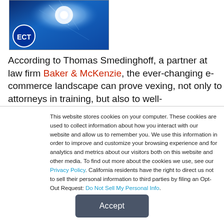[Figure (photo): ECT logo with blue technology background image showing bright light and mechanical/digital elements]
According to Thomas Smedinghoff, a partner at law firm Baker & McKenzie, the ever-changing e-commerce landscape can prove vexing, not only to attorneys in training, but also to well-
This website stores cookies on your computer. These cookies are used to collect information about how you interact with our website and allow us to remember you. We use this information in order to improve and customize your browsing experience and for analytics and metrics about our visitors both on this website and other media. To find out more about the cookies we use, see our Privacy Policy. California residents have the right to direct us not to sell their personal information to third parties by filing an Opt-Out Request: Do Not Sell My Personal Info.